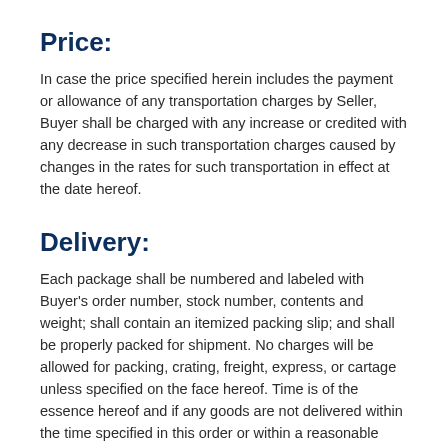Price:
In case the price specified herein includes the payment or allowance of any transportation charges by Seller, Buyer shall be charged with any increase or credited with any decrease in such transportation charges caused by changes in the rates for such transportation in effect at the date hereof.
Delivery:
Each package shall be numbered and labeled with Buyer’s order number, stock number, contents and weight; shall contain an itemized packing slip; and shall be properly packed for shipment. No charges will be allowed for packing, crating, freight, express, or cartage unless specified on the face hereof. Time is of the essence hereof and if any goods are not delivered within the time specified in this order or within a reasonable time if no time is so specified, Buyer may either (i) refuse to accept such goods, and terminate this order, or (ii) cause Seller to ship the goods by the most expeditious means of transportation whereupon any additional transportation